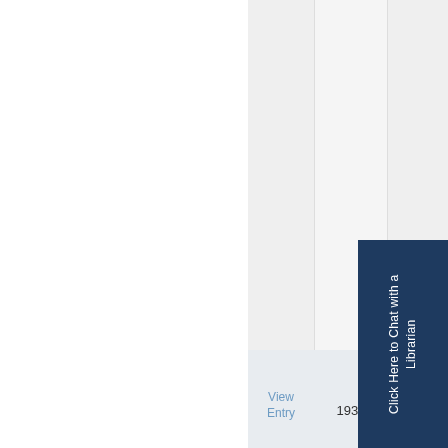| View Entry | Year | Case Name |
| --- | --- | --- |
| View Entry | 1934 | State v. Jess Martin and Maz Martin |
Click Here to Chat with a Librarian